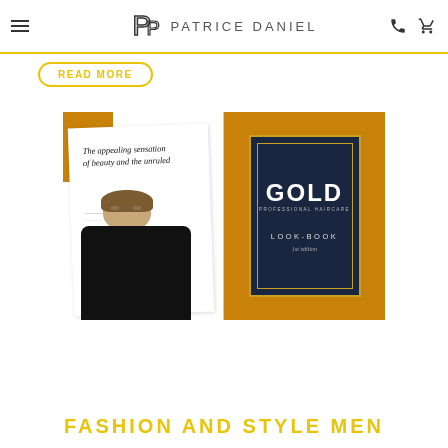Patrice Daniel
READ MORE
[Figure (photo): Two open books/lookbooks on an orange/golden background. Left side shows an editorial spread with italic text 'The appealing sensation of beauty and the unruled' and a male model in black. Right side shows the GOLD Professional Haircare Look-Book cover in dark navy with gold border.]
FASHION AND STYLE MEN